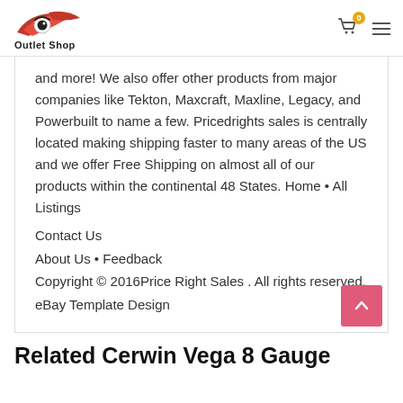Outlet Shop
and more! We also offer other products from major companies like Tekton, Maxcraft, Maxline, Legacy, and Powerbuilt to name a few. Pricedrights sales is centrally located making shipping faster to many areas of the US and we offer Free Shipping on almost all of our products within the continental 48 States. Home • All Listings
Contact Us
About Us • Feedback
Copyright © 2016Price Right Sales . All rights reserved. eBay Template Design
Related Cerwin Vega 8 Gauge